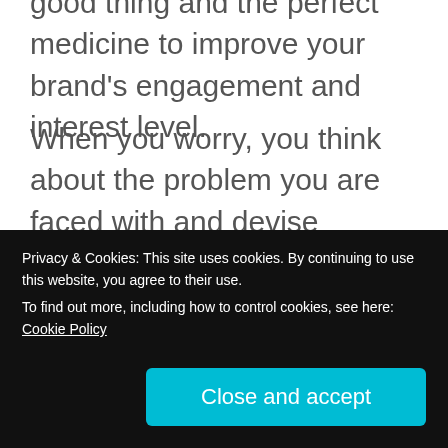good thing and the perfect medicine to improve your brand's engagement and interest level.
When you worry, you think about the problem you are faced with and devise solutions to prevent the problem becoming worse and overcome it. The key thing to remember is that you must transform your worrying into action and not more worry or stress.
Here are a couple of tips to attack the
Privacy & Cookies: This site uses cookies. By continuing to use this website, you agree to their use.
To find out more, including how to control cookies, see here: Cookie Policy
Close and accept
interesting doesn't happen by chance. It takes a